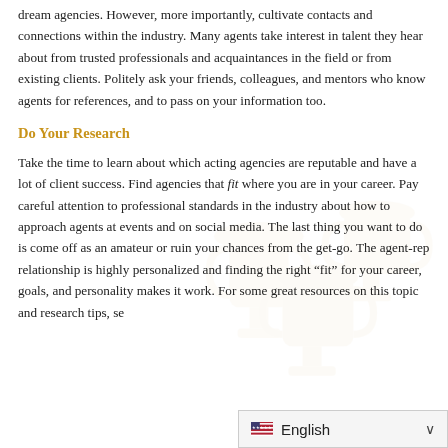dream agencies. However, more importantly, cultivate contacts and connections within the industry. Many agents take interest in talent they hear about from trusted professionals and acquaintances in the field or from existing clients. Politely ask your friends, colleagues, and mentors who know agents for references, and to pass on your information too.
Do Your Research
Take the time to learn about which acting agencies are reputable and have a lot of client success. Find agencies that fit where you are in your career. Pay careful attention to professional standards in the industry about how to approach agents at events and on social media. The last thing you want to do is come off as an amateur or ruin your chances from the get-go. The agent-rep relationship is highly personalized and finding the right “fit” for your career, goals, and personality makes it work. For some great resources on this topic and research tips, se